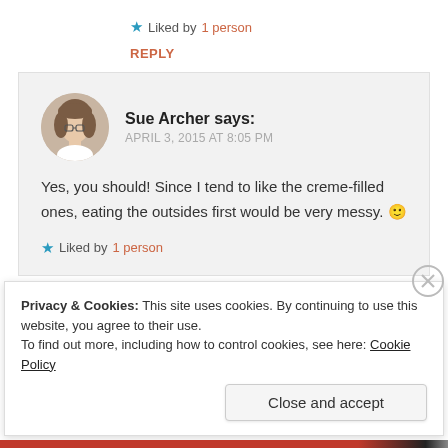★ Liked by 1 person
REPLY
[Figure (photo): Circular avatar photo of Sue Archer, a woman with short brown hair and glasses]
Sue Archer says:
APRIL 3, 2015 AT 8:05 PM
Yes, you should! Since I tend to like the creme-filled ones, eating the outsides first would be very messy. 🙂
★ Liked by 1 person
Privacy & Cookies: This site uses cookies. By continuing to use this website, you agree to their use.
To find out more, including how to control cookies, see here: Cookie Policy
Close and accept